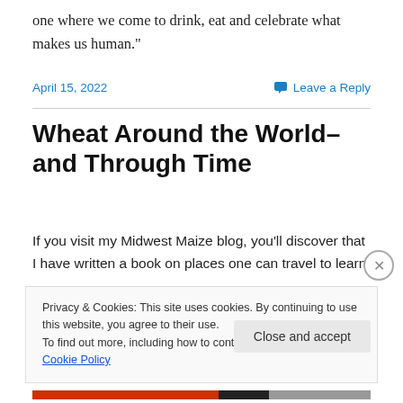one where we come to drink, eat and celebrate what makes us human."
April 15, 2022
Leave a Reply
Wheat Around the World–and Through Time
If you visit my Midwest Maize blog, you'll discover that I have written a book on places one can travel to learn
Privacy & Cookies: This site uses cookies. By continuing to use this website, you agree to their use.
To find out more, including how to control cookies, see here: Cookie Policy
Close and accept